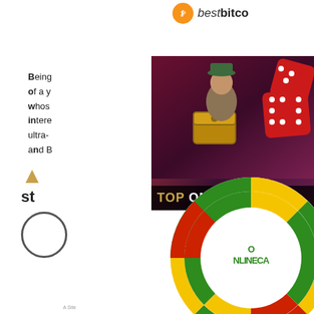[Figure (logo): bestbitco logo with orange Bitcoin circle icon and text 'bestbitco' in dark font]
Being of a yo whose intere ultra- and B
[Figure (photo): Online casino banner image showing a cartoon figure with a treasure chest and red dice, with text 'TOP ONLINE CA' at bottom]
[Figure (logo): OnlineCa circular logo with green, yellow, and red segments on a white background, partially visible]
[Figure (infographic): Left side bottom area with gold arrow icon, stars/rating text, and circle graphic]
A Site